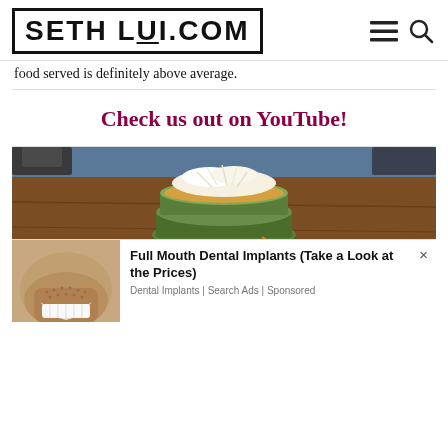SETHLUI.COM
food served is definitely above average.
Check us out on YouTube!
[Figure (photo): Stack of green pandan pancakes topped with shredded coconut on a blue and white striped plate on a wooden table]
[Figure (photo): Advertisement overlay showing a man smiling with dental implants, promoting Full Mouth Dental Implants with the text 'Full Mouth Dental Implants (Take a Look at the Prices)' by Dental Implants | Search Ads | Sponsored]